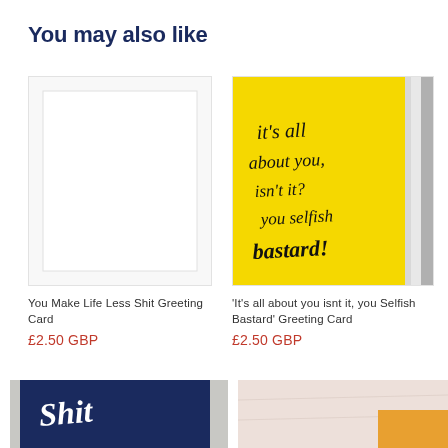You may also like
[Figure (photo): Blank white greeting card product image (placeholder/empty)]
You Make Life Less Shit Greeting Card
£2.50 GBP
[Figure (photo): Yellow greeting card with handwritten text: 'it's all about you, isn't it? you selfish bastard!']
'It's all about you isnt it, you Selfish Bastard' Greeting Card
£2.50 GBP
[Figure (photo): Dark navy blue greeting card with white script text reading 'Shit' partially visible]
[Figure (photo): Light pink/cream background greeting card partially visible at bottom right]